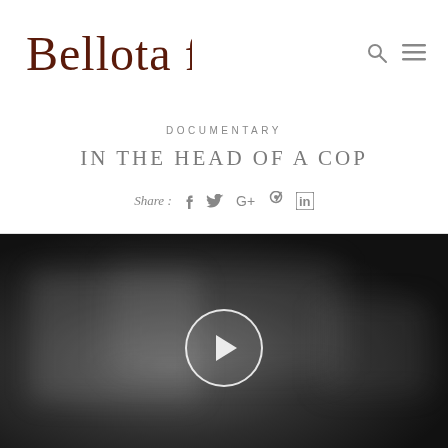[Figure (logo): Bellota Films cursive logo in dark brown/maroon color]
DOCUMENTARY
IN THE HEAD OF A COP
Share :  f  t  G+  p  in
[Figure (screenshot): Dark blurred video thumbnail with a white circular play button in the center]